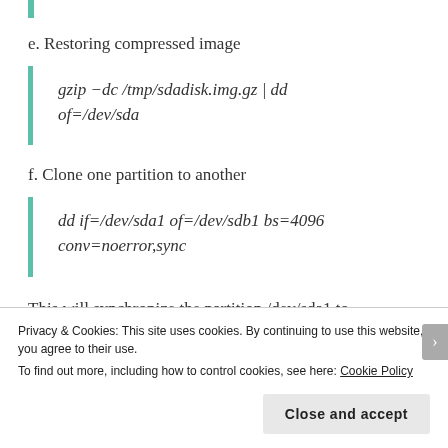e. Restoring compressed image
gzip −dc /tmp/sdadisk.img.gz | dd of=/dev/sda
f. Clone one partition to another
dd if=/dev/sda1 of=/dev/sdb1 bs=4096 conv=noerror,sync
This will synchronize the partition /dev/sda1 to
Privacy & Cookies: This site uses cookies. By continuing to use this website, you agree to their use.
To find out more, including how to control cookies, see here: Cookie Policy
Close and accept